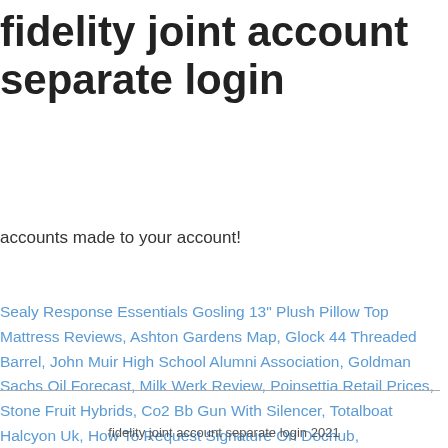fidelity joint account separate login
accounts made to your account!
Sealy Response Essentials Gosling 13" Plush Pillow Top Mattress Reviews, Ashton Gardens Map, Glock 44 Threaded Barrel, John Muir High School Alumni Association, Goldman Sachs Oil Forecast, Milk Werk Review, Poinsettia Retail Prices, Stone Fruit Hybrids, Co2 Bb Gun With Silencer, Totalboat Halcyon Uk, How To Request Signature On Dochub,
fidelity joint account separate login 2021